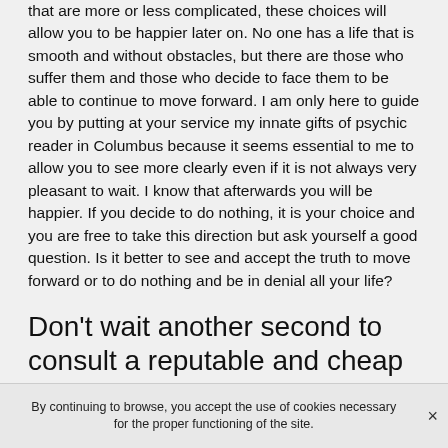that are more or less complicated, these choices will allow you to be happier later on. No one has a life that is smooth and without obstacles, but there are those who suffer them and those who decide to face them to be able to continue to move forward. I am only here to guide you by putting at your service my innate gifts of psychic reader in Columbus because it seems essential to me to allow you to see more clearly even if it is not always very pleasant to wait. I know that afterwards you will be happier. If you decide to do nothing, it is your choice and you are free to take this direction but ask yourself a good question. Is it better to see and accept the truth to move forward or to do nothing and be in denial all your life?
Don't wait another second to consult a reputable and cheap psychic reader in
By continuing to browse, you accept the use of cookies necessary for the proper functioning of the site.